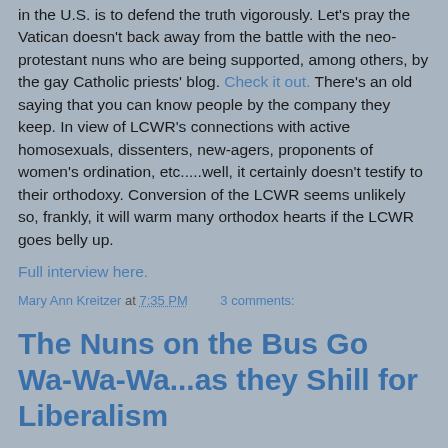in the U.S. is to defend the truth vigorously. Let's pray the Vatican doesn't back away from the battle with the neo-protestant nuns who are being supported, among others, by the gay Catholic priests' blog. Check it out. There's an old saying that you can know people by the company they keep. In view of LCWR's connections with active homosexuals, dissenters, new-agers, proponents of women's ordination, etc.....well, it certainly doesn't testify to their orthodoxy. Conversion of the LCWR seems unlikely so, frankly, it will warm many orthodox hearts if the LCWR goes belly up.
Full interview here.
Mary Ann Kreitzer at 7:35 PM   3 comments:
The Nuns on the Bus Go Wa-Wa-Wa...as they Shill for Liberalism
Did you know there are only seven nuns on that huge rock-star bus? What a time they must be having. Think the bar is well stocked? Wonder what videos are in the TV cabinet?